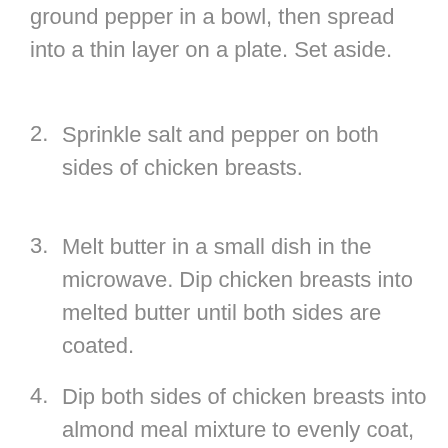ground pepper in a bowl, then spread into a thin layer on a plate. Set aside.
2. Sprinkle salt and pepper on both sides of chicken breasts.
3. Melt butter in a small dish in the microwave. Dip chicken breasts into melted butter until both sides are coated.
4. Dip both sides of chicken breasts into almond meal mixture to evenly coat, then bake.